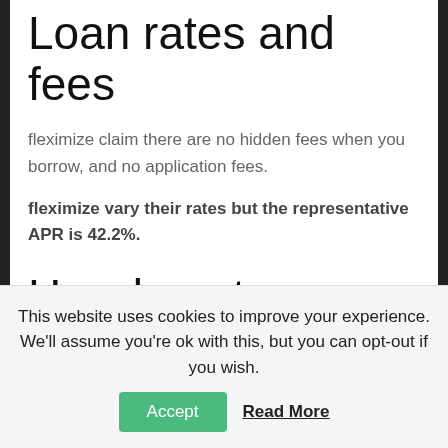Loan rates and fees
fleximize claim there are no hidden fees when you borrow, and no application fees.
fleximize vary their rates but the representative APR is 42.2%.
How long to receive an approval?
Funding can sometimes be retrieved in as little as 24 hours. This is due to the fast online
This website uses cookies to improve your experience. We'll assume you're ok with this, but you can opt-out if you wish. Accept Read More